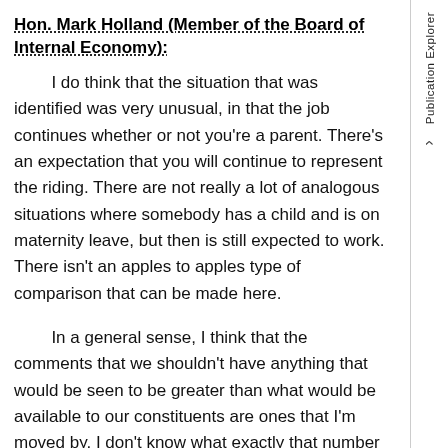Hon. Mark Holland (Member of the Board of Internal Economy):
I do think that the situation that was identified was very unusual, in that the job continues whether or not you're a parent. There's an expectation that you will continue to represent the riding. There are not really a lot of analogous situations where somebody has a child and is on maternity leave, but then is still expected to work. There isn't an apples to apples type of comparison that can be made here.
In a general sense, I think that the comments that we shouldn't have anything that would be seen to be greater than what would be available to our constituents are ones that I'm moved by. I don't know what exactly that number is. I'm open to proposals. I think Madam Chagger perhaps